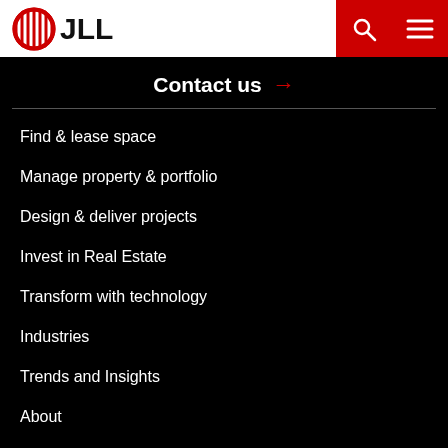[Figure (logo): JLL logo with red striped circle icon and bold JLL text]
Contact us →
Find & lease space
Manage property & portfolio
Design & deliver projects
Invest in Real Estate
Transform with technology
Industries
Trends and Insights
About